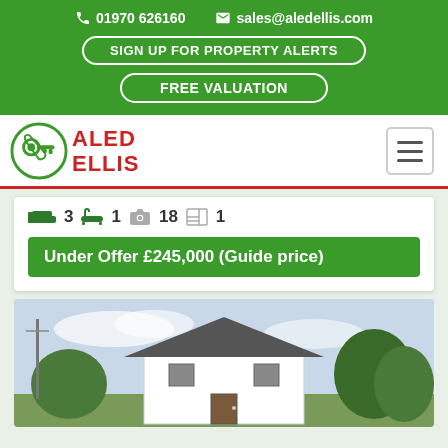01970 626160  sales@aledellis.com  SIGN UP FOR PROPERTY ALERTS  FREE VALUATION
[Figure (logo): Aled Ellis estate agents logo — green circle with key icon, red text ALED ELLIS]
3 bedrooms  1 bathroom  18 photos  1 floorplan
Under Offer £245,000 (Guide price)
[Figure (photo): Exterior photo of a white two-storey detached house with grey roof, surrounded by trees, under a light blue sky]